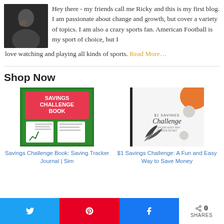Hey there - my friends call me Ricky and this is my first blog. I am passionate about change and growth, but cover a variety of topics. I am also a crazy sports fan. American Football is my sport of choice, but I love watching and playing all kinds of sports. Read More…
Shop Now
[Figure (photo): Cover of Savings Challenge Book: Saving Tracker Journal, green background with charts]
Savings Challenge Book: Saving Tracker Journal | Sim
[Figure (photo): Cover of $1 Savings Challenge: A Fun and Easy Way to Save Money, white background with orange and plant illustrations]
$1 Savings Challenge: A Fun and Easy Way to Save Money
0 SHARES